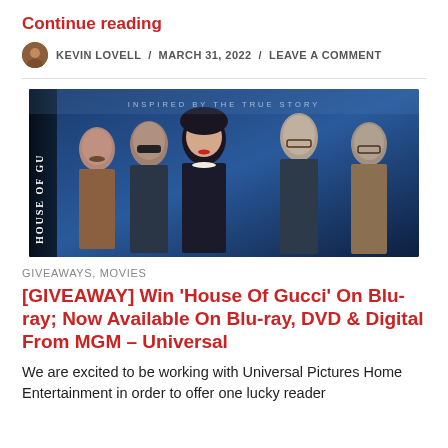Continue reading
KEVIN LOVELL / MARCH 31, 2022 / LEAVE A COMMENT
[Figure (photo): Movie poster for House of Gucci showing five cast members against a blue background with text 'INSPIRED BY THE TRUE STORY' at the top and the film title on the spine.]
GIVEAWAYS, MOVIES
[GIVEAWAY] Win ‘House Of Gucci’ On Blu-ray; Now Available On Blu-ray, DVD & Digital From MGM – Universal
We are excited to be working with Universal Pictures Home Entertainment in order to offer one lucky reader